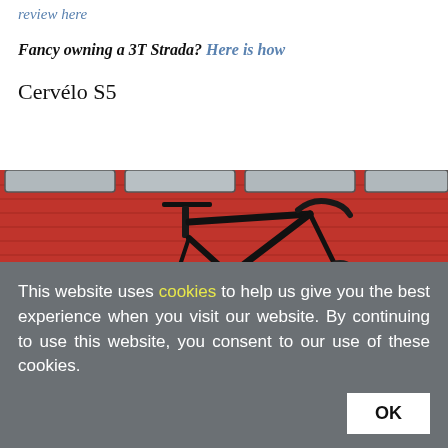review here
Fancy owning a 3T Strada? Here is how
Cervélo S5
[Figure (photo): A dark carbon road bike (appears to be a Cervélo S5) leaning against a red wooden wall/vehicle with rectangular windows visible at the top.]
This website uses cookies to help us give you the best experience when you visit our website. By continuing to use this website, you consent to our use of these cookies.